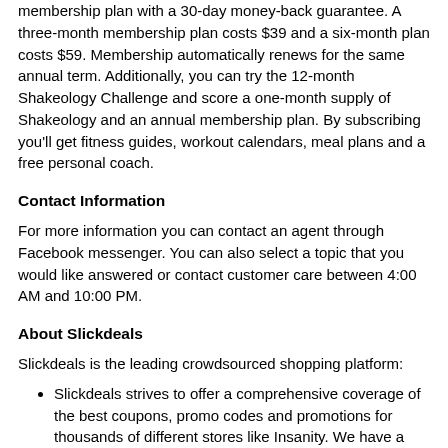membership plan with a 30-day money-back guarantee. A three-month membership plan costs $39 and a six-month plan costs $59. Membership automatically renews for the same annual term. Additionally, you can try the 12-month Shakeology Challenge and score a one-month supply of Shakeology and an annual membership plan. By subscribing you'll get fitness guides, workout calendars, meal plans and a free personal coach.
Contact Information
For more information you can contact an agent through Facebook messenger. You can also select a topic that you would like answered or contact customer care between 4:00 AM and 10:00 PM.
About Slickdeals
Slickdeals is the leading crowdsourced shopping platform:
Slickdeals strives to offer a comprehensive coverage of the best coupons, promo codes and promotions for thousands of different stores like Insanity. We have a dedicated team that works around the clock to find, post and verify the offers we present to consumers.
In the last 20 years, Slickdeals has saved online shoppers over $6.8 billion.
We have 11 million active savvy shoppers, you can join